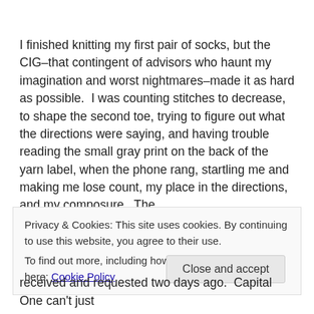I finished knitting my first pair of socks, but the CIG–that contingent of advisors who haunt my imagination and worst nightmares–made it as hard as possible.  I was counting stitches to decrease, to shape the second toe, trying to figure out what the directions were saying, and having trouble reading the small gray print on the back of the yarn label, when the phone rang, startling me and making me lose count, my place in the directions, and my composure.  The
Privacy & Cookies: This site uses cookies. By continuing to use this website, you agree to their use.
To find out more, including how to control cookies, see here: Cookie Policy
Close and accept
received and requested two days ago.  Capital One can't just